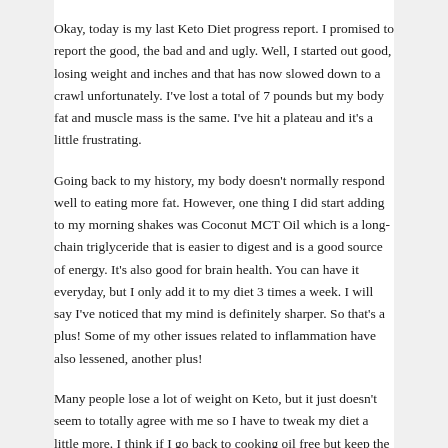Okay, today is my last Keto Diet progress report. I promised to report the good, the bad and and ugly. Well, I started out good, losing weight and inches and that has now slowed down to a crawl unfortunately. I've lost a total of 7 pounds but my body fat and muscle mass is the same. I've hit a plateau and it's a little frustrating.
Going back to my history, my body doesn't normally respond well to eating more fat. However, one thing I did start adding to my morning shakes was Coconut MCT Oil which is a long-chain triglyceride that is easier to digest and is a good source of energy. It's also good for brain health. You can have it everyday, but I only add it to my diet 3 times a week. I will say I've noticed that my mind is definitely sharper. So that's a plus! Some of my other issues related to inflammation have also lessened, another plus!
Many people lose a lot of weight on Keto, but it just doesn't seem to totally agree with me so I have to tweak my diet a little more. I think if I go back to cooking oil free but keep the avocados, nuts, coconuts and olives in my diet a few times a week I'm hoping I can find a good balance.